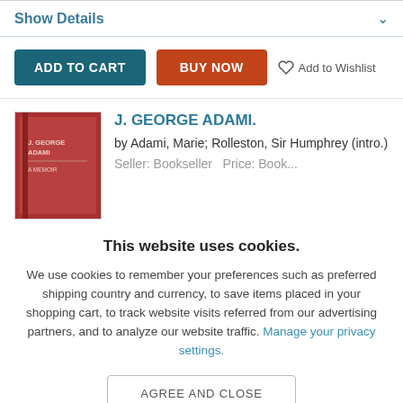Show Details
[Figure (screenshot): ADD TO CART and BUY NOW buttons, plus Add to Wishlist link]
J. GEORGE ADAMI.
by Adami, Marie; Rolleston, Sir Humphrey (intro.)
[Figure (photo): Red book cover thumbnail]
This website uses cookies.
We use cookies to remember your preferences such as preferred shipping country and currency, to save items placed in your shopping cart, to track website visits referred from our advertising partners, and to analyze our website traffic. Manage your privacy settings.
AGREE AND CLOSE